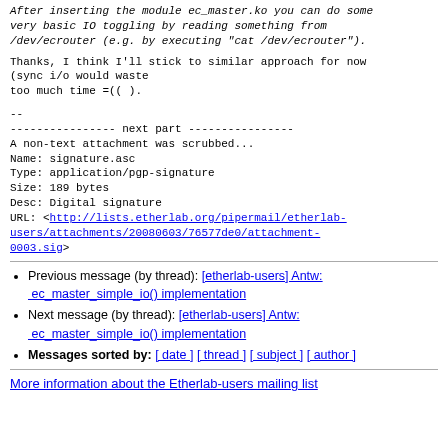After inserting the module ec_master.ko you can do some
very basic IO toggling by reading something from
/dev/ecrouter (e.g. by executing "cat /dev/ecrouter").
Thanks, I think I'll stick to similar approach for now
(sync i/o would waste
too much time =(( ).
--
---------------- next part ----------------
A non-text attachment was scrubbed...
Name: signature.asc
Type: application/pgp-signature
Size: 189 bytes
Desc: Digital signature
URL: <http://lists.etherlab.org/pipermail/etherlab-users/attachments/20080603/76577de0/attachment-0003.sig>
Previous message (by thread): [etherlab-users] Antw: ec_master_simple_io() implementation
Next message (by thread): [etherlab-users] Antw: ec_master_simple_io() implementation
Messages sorted by: [ date ] [ thread ] [ subject ] [ author ]
More information about the Etherlab-users mailing list